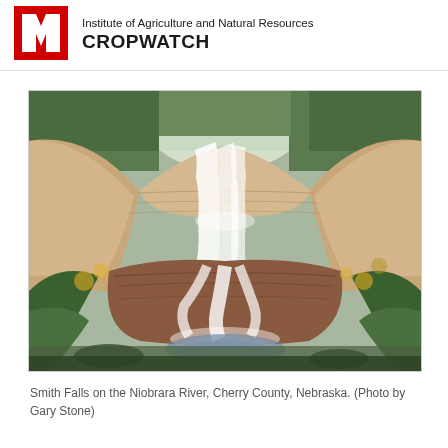COVID-19
Institute of Agriculture and Natural Resources CROPWATCH
[Figure (photo): Waterfall (Smith Falls) cascading over layered sandstone rock formations surrounded by trees with autumn foliage, Niobrara River, Cherry County, Nebraska. Photo by Gary Stone.]
Smith Falls on the Niobrara River, Cherry County, Nebraska. (Photo by Gary Stone)